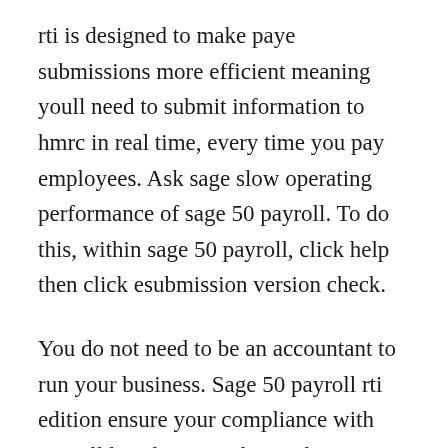rti is designed to make paye submissions more efficient meaning youll need to submit information to hmrc in real time, every time you pay employees. Ask sage slow operating performance of sage 50 payroll. To do this, within sage 50 payroll, click help then click esubmission version check.
You do not need to be an accountant to run your business. Sage 50 payroll rti edition ensure your compliance with payroll legislation. Ask sage how to download and install sage 50 payroll. Its very important that